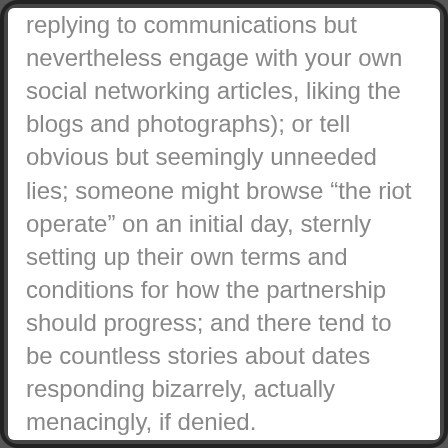replying to communications but nevertheless engage with your own social networking articles, liking the blogs and photographs); or tell obvious but seemingly unneeded lies; someone might browse “the riot operate” on an initial day, sternly setting up their own terms and conditions for how the partnership should progress; and there tend to be countless stories about dates responding bizarrely, actually menacingly, if denied.
Read more... →
2022 1 12   JohnMiller83